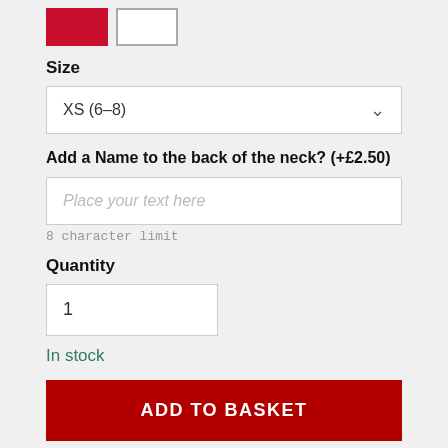[Figure (other): Two color swatches: red (selected, with red border) and white]
Size
XS (6–8)
Add a Name to the back of the neck? (+£2.50)
Place your text here
8 character limit
Quantity
1
In stock
ADD TO BASKET
Add to wish list